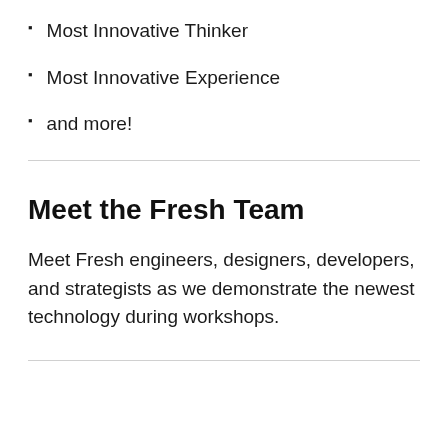Most Innovative Thinker
Most Innovative Experience
and more!
Meet the Fresh Team
Meet Fresh engineers, designers, developers, and strategists as we demonstrate the newest technology during workshops.